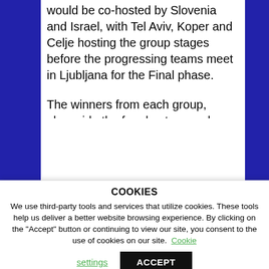would be co-hosted by Slovenia and Israel, with Tel Aviv, Koper and Celje hosting the group stages before the progressing teams meet in Ljubljana for the Final phase.
The winners from each group, alongside the four best second-placed teams will progress to the
COOKIES
We use third-party tools and services that utilize cookies. These tools help us deliver a better website browsing experience. By clicking on the "Accept" button or continuing to view our site, you consent to the use of cookies on our site. Cookie settings